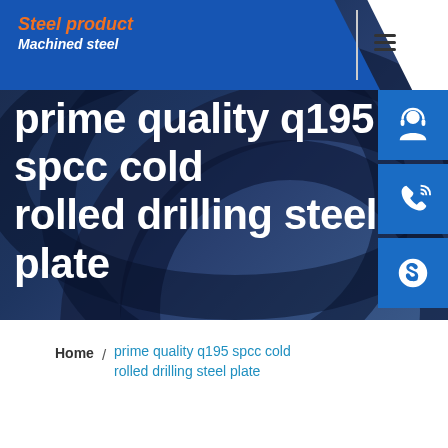[Figure (screenshot): Website header for a steel product company showing 'Steel product / Machined steel' branding in a blue banner with orange italic text, hamburger menu icon, customer service icons (headset, phone, Skype) in blue buttons on the right side, dark industrial drill/metal background, and large white text reading 'prime quality q195 spcc cold rolled drilling steel plate']
Home / prime quality q195 spcc cold rolled drilling steel plate